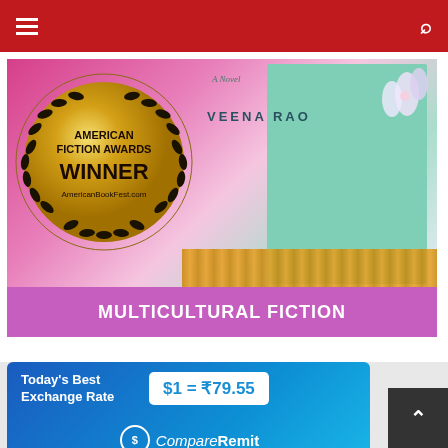Navigation bar with menu and search icons
[Figure (photo): American Fiction Awards Winner medal (gold) for Multicultural Fiction category, shown alongside a book cover by Veena Rao with floral design and decorative embroidery strip, with purple banner reading MULTICULTURAL FICTION]
[Figure (infographic): CompareRemit advertisement banner: Today's Best Exchange Rate $1 = ₹79.55, dated 2022-08-31 PDT | *T&C Applies]